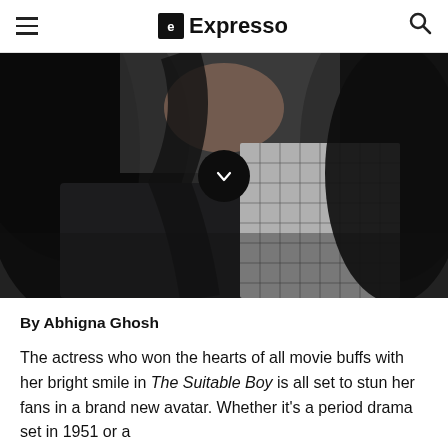Expresso
[Figure (photo): Close-up photo of a woman with dark hair wearing a black and white checkered/grid-pattern garment, with a dark circular down-arrow button overlay in the center]
By Abhigna Ghosh
The actress who won the hearts of all movie buffs with her bright smile in The Suitable Boy is all set to stun her fans in a brand new avatar. Whether it's a period drama set in 1951 or a